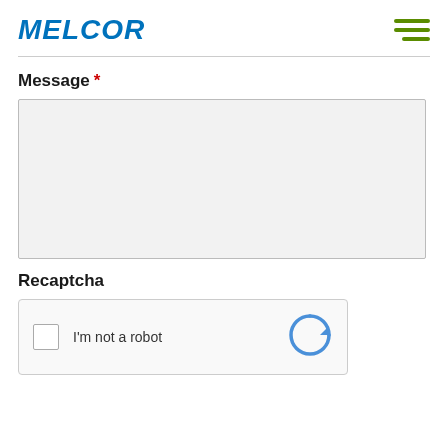MELCOR
Message *
[Figure (screenshot): Empty message textarea input field with light gray background]
Recaptcha
[Figure (screenshot): reCAPTCHA widget with checkbox and 'I'm not a robot' text and reCAPTCHA logo]